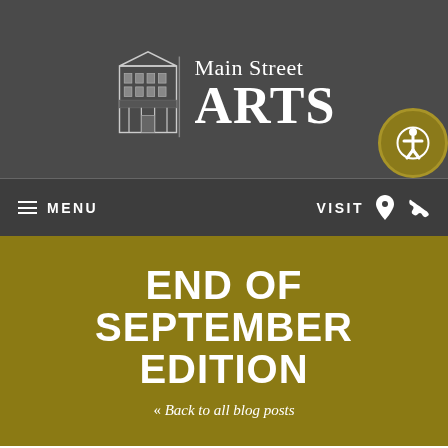[Figure (logo): Main Street ARTS logo with building illustration and text]
MENU    VISIT
END OF SEPTEMBER EDITION
« Back to all blog posts
October 3, 2017
[Figure (photo): Interior gallery photo showing ceiling and lighting]